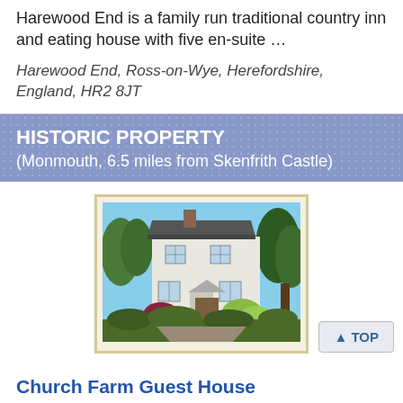Harewood End is a family run traditional country inn and eating house with five en-suite …
Harewood End, Ross-on-Wye, Herefordshire, England, HR2 8JT
HISTORIC PROPERTY
(Monmouth, 6.5 miles from Skenfrith Castle)
[Figure (photo): A white-painted multi-storey country house with dark roof, surrounded by trees and colourful garden shrubs, photographed from the front.]
▲ TOP
Church Farm Guest House